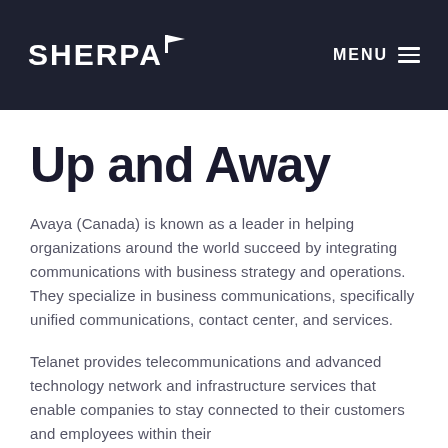SHERPA  MENU
Up and Away
Avaya (Canada) is known as a leader in helping organizations around the world succeed by integrating communications with business strategy and operations. They specialize in business communications, specifically unified communications, contact center, and services.
Telanet provides telecommunications and advanced technology network and infrastructure services that enable companies to stay connected to their customers and employees within their